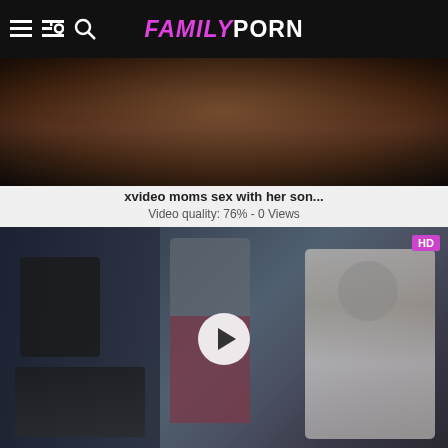FamilyPorn
[Figure (screenshot): Video thumbnail for xvideo moms sex with her son]
xvideo moms sex with her son...
Video quality: 76% - 0 Views
[Figure (screenshot): Video thumbnail for xvideo japanese mom family story, HD badge, play button overlay, nurse and patient scene]
xvideo japanese mom family sto...
Video quality: 90% - 0 Views
[Figure (screenshot): Partial video thumbnail at bottom of page, HD badge visible]